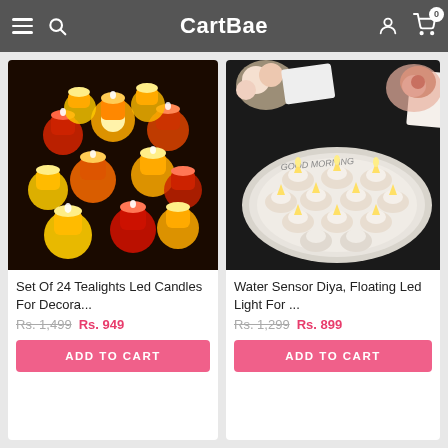CartBae
[Figure (photo): Set of 24 tealight LED candles glowing in red, orange and yellow colors arranged on a dark surface]
Set Of 24 Tealights Led Candles For Decora...
Rs. 1,499  Rs. 949
ADD TO CART
[Figure (photo): Water sensor floating LED diyas arranged on a white plate with flowers in the background, with 'GOOD MORNING' text]
Water Sensor Diya, Floating Led Light For ...
Rs. 1,299  Rs. 899
ADD TO CART